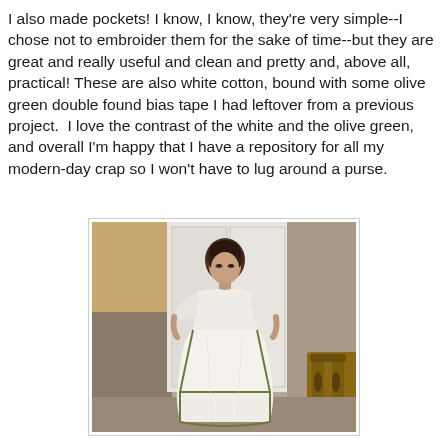I also made pockets! I know, I know, they're very simple--I chose not to embroider them for the sake of time--but they are great and really useful and clean and pretty and, above all, practical! These are also white cotton, bound with some olive green double found bias tape I had leftover from a previous project.  I love the contrast of the white and the olive green, and overall I'm happy that I have a repository for all my modern-day crap so I won't have to lug around a purse.
[Figure (photo): A woman wearing a white historical-style dress with an apron-like skirt with olive green bias tape trim, standing in a room with white closet doors and wooden furniture visible.]